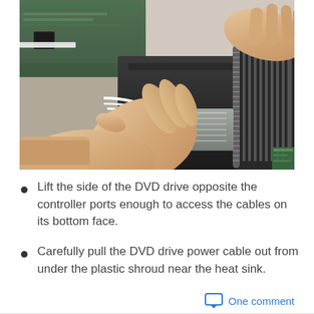[Figure (photo): Close-up photograph of hands working inside an electronic device, lifting a DVD drive to access cables on its bottom face near a heat sink with a spiral screw visible. Circuit boards and ribbon cables are visible.]
Lift the side of the DVD drive opposite the controller ports enough to access the cables on its bottom face.
Carefully pull the DVD drive power cable out from under the plastic shroud near the heat sink.
One comment